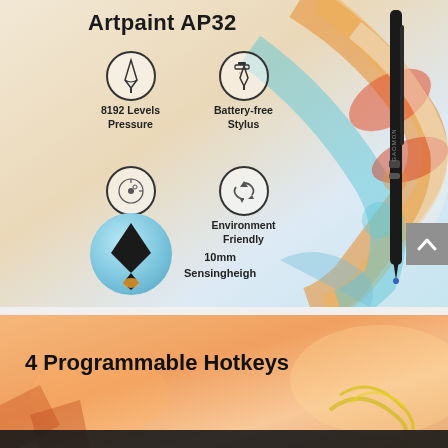[Figure (infographic): Product infographic for Gaomon Artpaint AP32 stylus pen. Shows pen features: 8192 Levels Pressure, Battery-free Stylus, 266 PPS, Environment Friendly, 10mm Sensingheigh. Features icon circles, a black stylus pen, and colorful swirling digital art background.]
Artpaint AP32
8192 Levels Pressure
Battery-free Stylus
266 PPS
Environment Friendly
10mm Sensingheigh
[Figure (infographic): Bottom section showing colorful digital art background with text '4 Programmable Hotkeys' in bold black text, and partial view of a graphics tablet.]